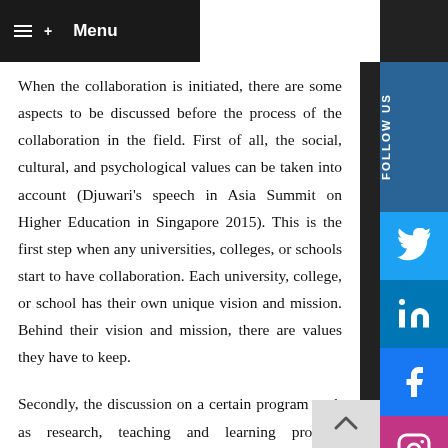Menu
When the collaboration is initiated, there are some aspects to be discussed before the process of the collaboration in the field. First of all, the social, cultural, and psychological values can be taken into account (Djuwari's speech in Asia Summit on Higher Education in Singapore 2015). This is the first step when any universities, colleges, or schools start to have collaboration. Each university, college, or school has their own unique vision and mission. Behind their vision and mission, there are values they have to keep.
Secondly, the discussion on a certain program such as research, teaching and learning process, curriculum, and the like. It is better to focus on one of those programs. When one program of any field is successful, another program can be